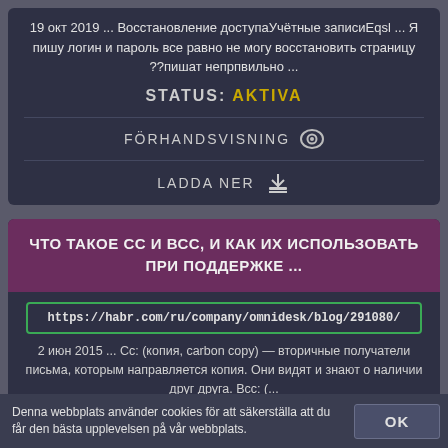19 окт 2019 ... Восстановление доступаУчётные записиEqsl ... Я пишу логин и пароль все равно не могу восстановить страницу ??пишат непрпвильно ...
STATUS: AKTIVA
FÖRHANDSVISNING
LADDA NER
ЧТО ТАКОЕ СС И ВСС, И КАК ИХ ИСПОЛЬЗОВАТЬ ПРИ ПОДДЕРЖКЕ ...
https://habr.com/ru/company/omnidesk/blog/291080/
2 июн 2015 ... Сс: (копия, carbon copy) — вторичные получатели письма, которым направляется копия. Они видят и знают о наличии друг друга. Всс: (...
Denna webbplats använder cookies för att säkerställa att du får den bästa upplevelsen på vår webbplats.
OK